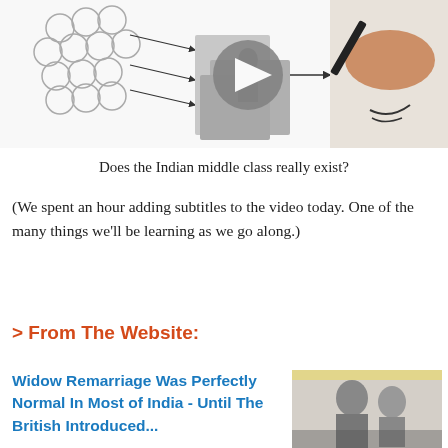[Figure (illustration): Educational infographic showing circles/bubbles on the left with arrows pointing right toward historical Indian figures in black-and-white photographs, a video play button overlay in the center, and a hand holding a marker on the right side.]
Does the Indian middle class really exist?
(We spent an hour adding subtitles to the video today. One of the many things we'll be learning as we go along.)
> From The Website:
Widow Remarriage Was Perfectly Normal In Most of India - Until The British Introduced...
[Figure (photo): Black and white photograph of a woman, likely historical, partially visible on the right side of the page.]